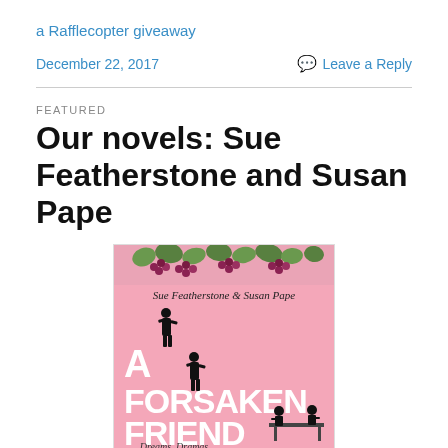a Rafflecopter giveaway
December 22, 2017
Leave a Reply
FEATURED
Our novels: Sue Featherstone and Susan Pape
[Figure (illustration): Book cover of 'A Forsaken Friend' by Sue Featherstone & Susan Pape. Pink background with grape vine decoration at top, silhouette of a standing man, large white bold text reading 'A FORSAKEN FRIEND', and subtitle text 'Dreams, Dramas' at the bottom. Two silhouetted figures seated at a table on the right side.]